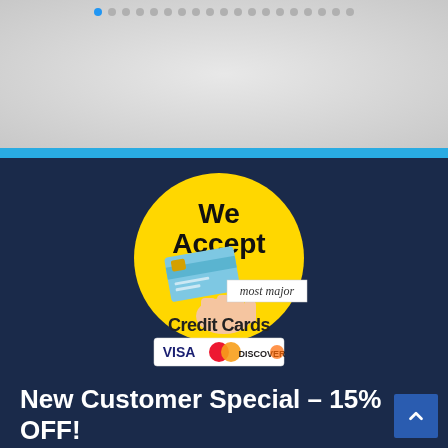[Figure (illustration): Slider dots navigation bar at top of page, showing one active blue dot and multiple grey dots]
[Figure (logo): We Accept most major Credit Cards badge — yellow circle with hand holding a credit card, text 'We Accept' and 'Credit Cards', plus Visa, Mastercard, Discover logos]
New Customer Special - 15% OFF!
Call Now   (856) 975-5987